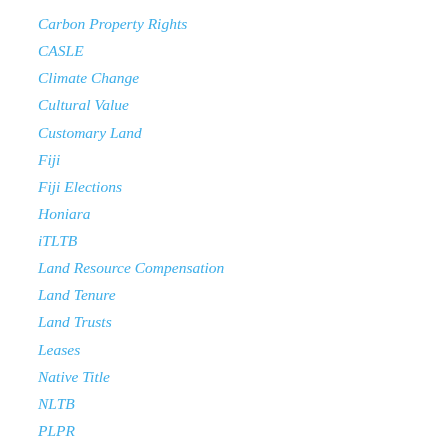Carbon Property Rights
CASLE
Climate Change
Cultural Value
Customary Land
Fiji
Fiji Elections
Honiara
iTLTB
Land Resource Compensation
Land Tenure
Land Trusts
Leases
Native Title
NLTB
PLPR
Property Rights
Property Rights Symposium
Solatium
Solomon Islands